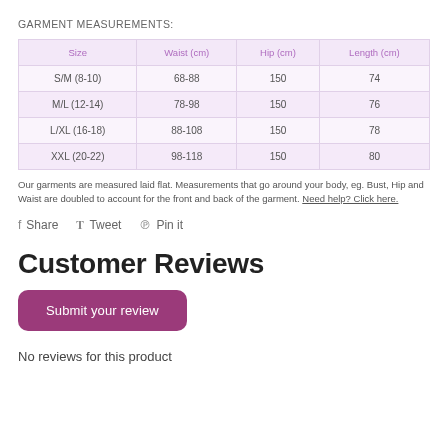GARMENT MEASUREMENTS:
| Size | Waist (cm) | Hip (cm) | Length (cm) |
| --- | --- | --- | --- |
| S/M (8-10) | 68-88 | 150 | 74 |
| M/L (12-14) | 78-98 | 150 | 76 |
| L/XL (16-18) | 88-108 | 150 | 78 |
| XXL (20-22) | 98-118 | 150 | 80 |
Our garments are measured laid flat. Measurements that go around your body, eg. Bust, Hip and Waist are doubled to account for the front and back of the garment. Need help? Click here.
Share   Tweet   Pin it
Customer Reviews
Submit your review
No reviews for this product